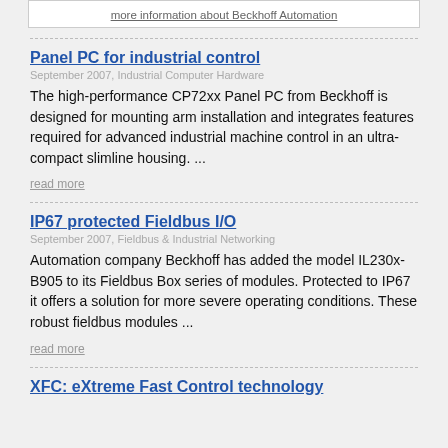more information about Beckhoff Automation
Panel PC for industrial control
September 2007, Industrial Computer Hardware
The high-performance CP72xx Panel PC from Beckhoff is designed for mounting arm installation and integrates features required for advanced industrial machine control in an ultra-compact slimline housing. ...
read more
IP67 protected Fieldbus I/O
September 2007, Fieldbus & Industrial Networking
Automation company Beckhoff has added the model IL230x-B905 to its Fieldbus Box series of modules. Protected to IP67 it offers a solution for more severe operating conditions. These robust fieldbus modules ...
read more
XFC: eXtreme Fast Control technology